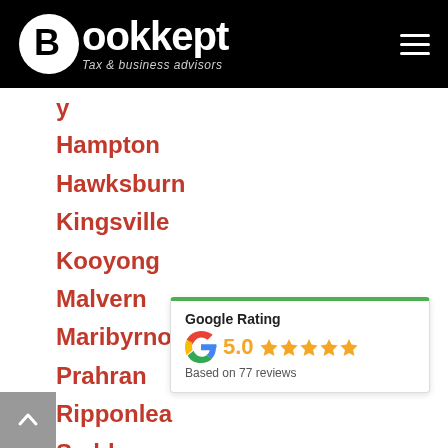[Figure (logo): Bookkept logo — circular icon with B, white text 'Bookkept', tagline 'Tax & business advisors' on black header bar with hamburger menu icon]
Hampton
Hawksburn
Kingsville
Kooyong
Malvern
Maribyrnong
Prahran
Ripponlea
Seddon
South Yarra
Spotswood
St Kilda
Sunshine
[Figure (infographic): Google Rating badge: Google G logo, rating 5.0 with five orange stars, 'Based on 77 reviews']